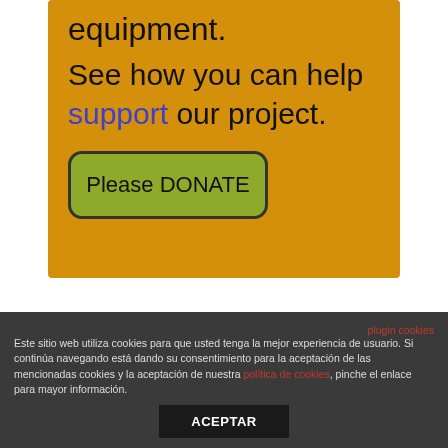equipment.
See how you can help support our project.
[Figure (other): Green donate button with rounded corners and dark border reading 'Please DONATE']
Este sitio web utiliza cookies para que usted tenga la mejor experiencia de usuario. Si continúa navegando está dando su consentimiento para la aceptación de las mencionadas cookies y la aceptación de nuestra política de cookies, pinche el enlace para mayor información.
plugin cookies
ACEPTAR